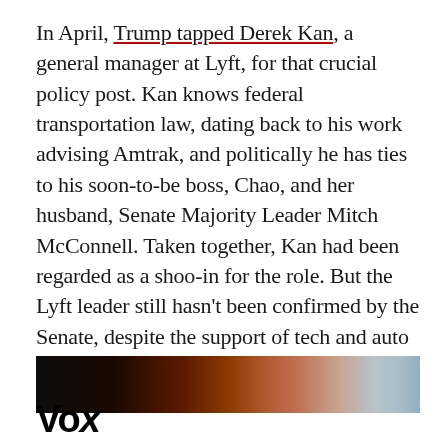In April, Trump tapped Derek Kan, a general manager at Lyft, for that crucial policy post. Kan knows federal transportation law, dating back to his work advising Amtrak, and politically he has ties to his soon-to-be boss, Chao, and her husband, Senate Majority Leader Mitch McConnell. Taken together, Kan had been regarded as a shoo-in for the role. But the Lyft leader still hasn't been confirmed by the Senate, despite the support of tech and auto giants who hope he'll be their voice on self-driving car policy — someday.
[Figure (photo): Partial view of a person's face, cropped, with dark background on left and light blue/grey on right]
Vox